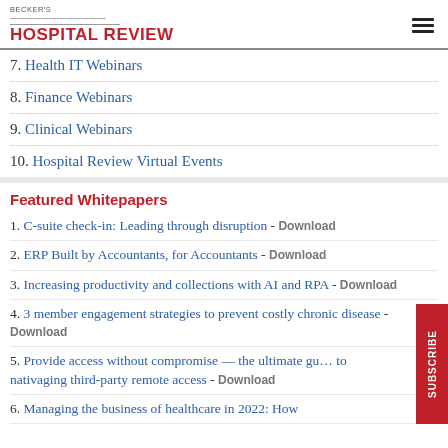BECKER'S HOSPITAL REVIEW
7. Health IT Webinars
8. Finance Webinars
9. Clinical Webinars
10. Hospital Review Virtual Events
Featured Whitepapers
1. C-suite check-in: Leading through disruption - Download
2. ERP Built by Accountants, for Accountants - Download
3. Increasing productivity and collections with AI and RPA - Download
4. 3 member engagement strategies to prevent costly chronic disease - Download
5. Provide access without compromise — the ultimate guide to nativaging third-party remote access - Download
6. Managing the business of healthcare in 2022: How